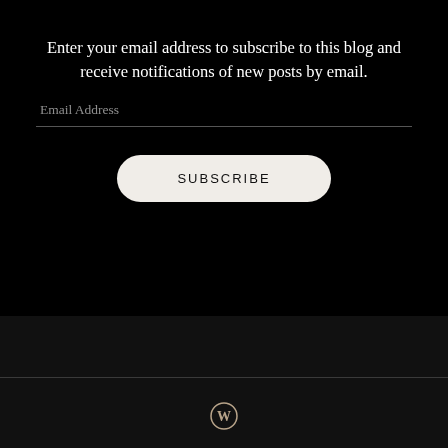Enter your email address to subscribe to this blog and receive notifications of new posts by email.
Email Address
SUBSCRIBE
Join 16 other subscribers